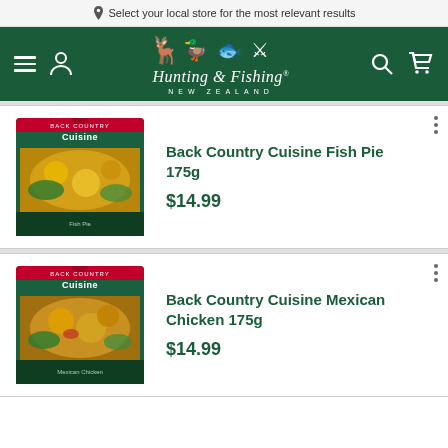Select your local store for the most relevant results
[Figure (logo): Hunting & Fishing New Zealand logo with animal silhouettes on dark green background]
[Figure (photo): Back Country Cuisine Fish Pie 175g product package]
Back Country Cuisine Fish Pie 175g
$14.99
[Figure (photo): Back Country Cuisine Mexican Chicken 175g product package]
Back Country Cuisine Mexican Chicken 175g
$14.99